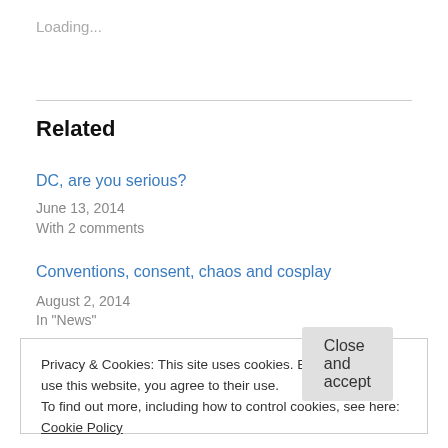Loading...
Related
DC, are you serious?
June 13, 2014
With 2 comments
Conventions, consent, chaos and cosplay
August 2, 2014
In "News"
Privacy & Cookies: This site uses cookies. By continuing to use this website, you agree to their use.
To find out more, including how to control cookies, see here: Cookie Policy
Close and accept